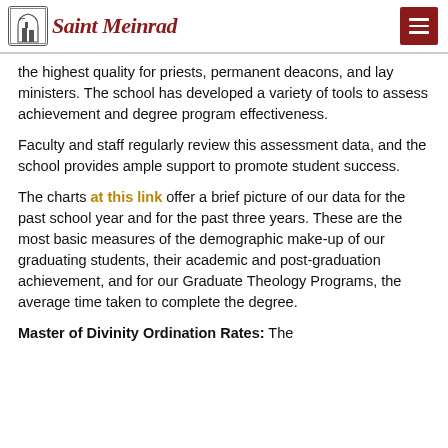Saint Meinrad
the highest quality for priests, permanent deacons, and lay ministers. The school has developed a variety of tools to assess achievement and degree program effectiveness.
Faculty and staff regularly review this assessment data, and the school provides ample support to promote student success.
The charts at this link offer a brief picture of our data for the past school year and for the past three years. These are the most basic measures of the demographic make-up of our graduating students, their academic and post-graduation achievement, and for our Graduate Theology Programs, the average time taken to complete the degree.
Master of Divinity Ordination Rates: The